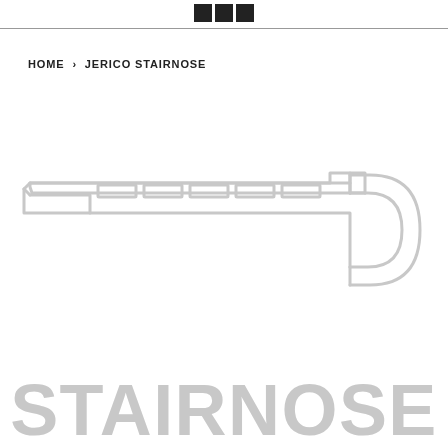HOME › JERICO STAIRNOSE
[Figure (schematic): Cross-section outline diagram of a stairnose flooring trim piece, shown in light gray. The profile shows the elongated flat top with rectangular channel slots, and a curved D-shaped nose on the right side.]
STAIRNOSE